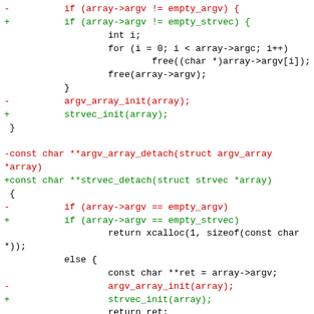Code diff showing changes from argv_array to strvec naming, including argv_array_detach to strvec_detach function rename and related struct/variable changes. Ends with diff --git a/argv-array.h b/argv-array.h header.